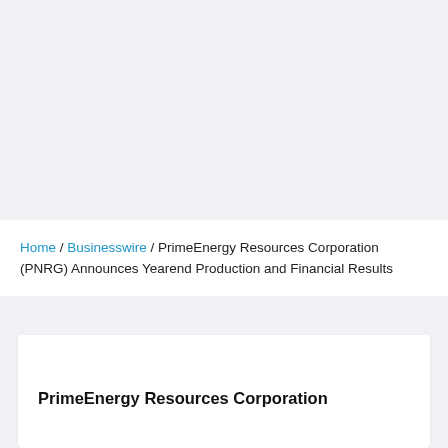Home / Businesswire / PrimeEnergy Resources Corporation (PNRG) Announces Yearend Production and Financial Results
PrimeEnergy Resources Corporation